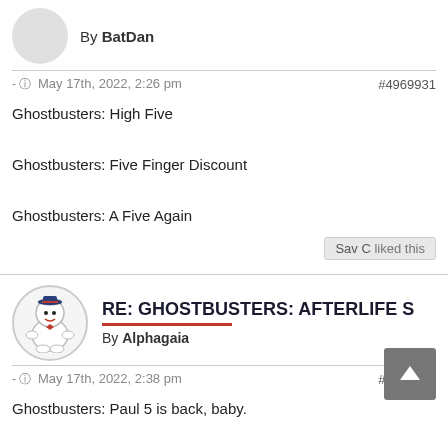By BatDan
- May 17th, 2022, 2:26 pm   #4969931
Ghostbusters: High Five

Ghostbusters: Five Finger Discount

Ghostbusters: A Five Again
Sav C liked this
RE: GHOSTBUSTERS: AFTERLIFE S
By Alphagaia
- May 17th, 2022, 2:38 pm   #4969932
Ghostbusters: Paul 5 is back, baby.
I couldn't resist.